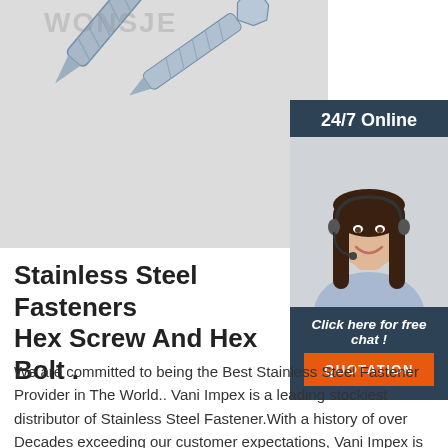[Figure (photo): Close-up photo of stainless steel hex screws and bolts on a light grey surface, with a watermark text 'WONSJE' partially visible at the top]
[Figure (photo): Sidebar panel with dark blue-grey background showing a customer service agent (woman with headset, smiling) and a '24/7 Online' header, 'Click here for free chat!' text, and an orange QUOTATION button]
Stainless Steel Fasteners Hex Screw And Hex Bolt .
We are committed to being the Best Stainless Steel Fastener Provider in The World.. Vani Impex is a leading stockiest distributor of Stainless Steel Fastener.With a history of over Decades exceeding our customer expectations, Vani Impex is now serving thousand of customers in India and around the world. .Every step, which has been taken to lead our